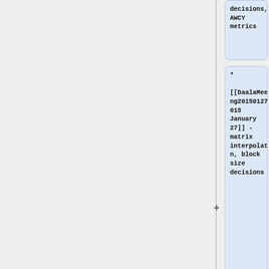* [[DaalaMeeting20150127|2015 January 27]] - matrix interpolation, block size decisions
* [[DaalaMeeting20150106|2015 January 6]] - SPIE
=== 2014 ===
=== 2014 ===